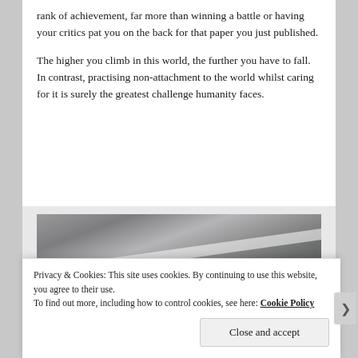rank of achievement, far more than winning a battle or having your critics pat you on the back for that paper you just published.
The higher you climb in this world, the further you have to fall. In contrast, practising non-attachment to the world whilst caring for it is surely the greatest challenge humanity faces.
[Figure (photo): A close-up photograph of a stone or concrete surface with a diagonal white stripe or ledge across it, with dark mossy or weathered areas in the lower right.]
Privacy & Cookies: This site uses cookies. By continuing to use this website, you agree to their use.
To find out more, including how to control cookies, see here: Cookie Policy
Close and accept